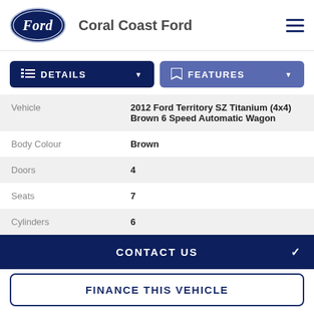Coral Coast Ford
DETAILS | FEATURES
| Field | Value |
| --- | --- |
| Vehicle | 2012 Ford Territory SZ Titanium (4x4) Brown 6 Speed Automatic Wagon |
| Body Colour | Brown |
| Doors | 4 |
| Seats | 7 |
| Cylinders | 6 |
CONTACT US
FINANCE THIS VEHICLE